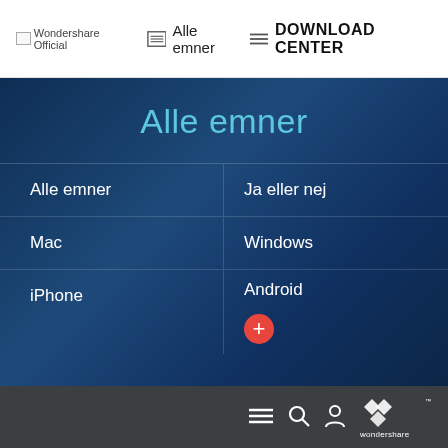Wondershare Official | Alle emner | DOWNLOAD CENTER
Alle emner
Alle emner
Ja eller nej
Mac
Windows
iPhone
Android
[Figure (logo): Wondershare logo in white on dark footer bar]
Wondershare